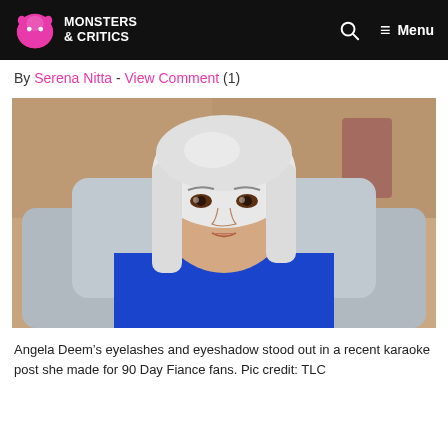Monsters & Critics
By Serena Nitta - View Comment (1)
[Figure (photo): Angela Deem, a woman with white/silver hair, wearing a blue lace top, seated in a grey armchair against a warm-toned background.]
Angela Deem’s eyelashes and eyeshadow stood out in a recent karaoke post she made for 90 Day Fiance fans. Pic credit: TLC